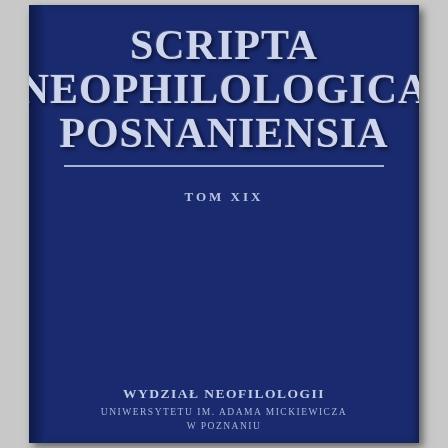SCRIPTA NEOPHILOLOGICA POSNANIENSIA
TOM XIX
WYDZIAŁ NEOFILOLOGII UNIWERSYTETU im. ADAMA MICKIEWICZA W POZNANIU
[Figure (logo): Circular seal/logo of Wydział Neofilologii UAM with an open book graphic and text around the border]
POZNAŃ 2019